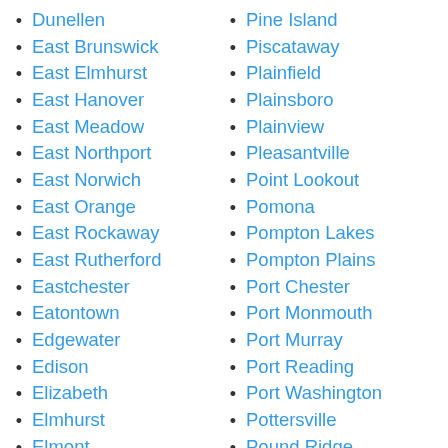Dunellen
East Brunswick
East Elmhurst
East Hanover
East Meadow
East Northport
East Norwich
East Orange
East Rockaway
East Rutherford
Eastchester
Eatontown
Edgewater
Edison
Elizabeth
Elmhurst
Elmont
Elmsford
Elmwood Park
Pine Island
Piscataway
Plainfield
Plainsboro
Plainview
Pleasantville
Point Lookout
Pomona
Pompton Lakes
Pompton Plains
Port Chester
Port Monmouth
Port Murray
Port Reading
Port Washington
Pottersville
Pound Ridge
Princeton
Princeton Junction